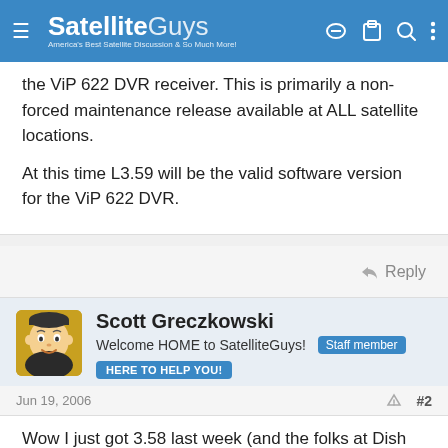SatelliteGuys — America's Best Satellite Discussion & So Much More!
the ViP 622 DVR receiver. This is primarily a non-forced maintenance release available at ALL satellite locations.

At this time L3.59 will be the valid software version for the ViP 622 DVR.
↩ Reply
Scott Greczkowski
Welcome HOME to SatelliteGuys! [Staff member]
[HERE TO HELP YOU!]
Jun 19, 2006  #2
Wow I just got 3.58 last week (and the folks at Dish wont comment on 3.58)